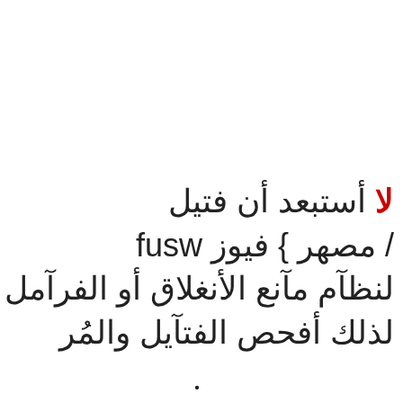لا أستبعد أن فتيل / فيوز { مصهر fusw لنظآم مآنع الأنغلاق أو الفرآمل لذلك أفحص الفتآيل والمُر .